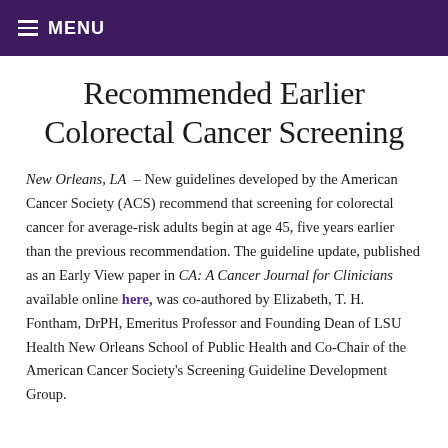≡ MENU
Recommended Earlier Colorectal Cancer Screening
New Orleans, LA – New guidelines developed by the American Cancer Society (ACS) recommend that screening for colorectal cancer for average-risk adults begin at age 45, five years earlier than the previous recommendation. The guideline update, published as an Early View paper in CA: A Cancer Journal for Clinicians available online here, was co-authored by Elizabeth, T. H. Fontham, DrPH, Emeritus Professor and Founding Dean of LSU Health New Orleans School of Public Health and Co-Chair of the American Cancer Society's Screening Guideline Development Group.